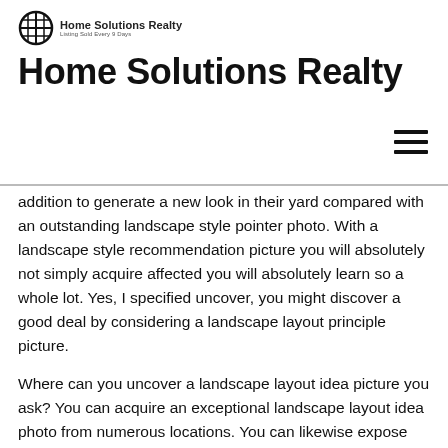[Figure (logo): Home Solutions Realty logo: black grid/globe icon with company name and tagline]
Home Solutions Realty
addition to generate a new look in their yard compared with an outstanding landscape style pointer photo. With a landscape style recommendation picture you will absolutely not simply acquire affected you will absolutely learn so a whole lot. Yes, I specified uncover, you might discover a good deal by considering a landscape layout principle picture.
Where can you uncover a landscape layout idea picture you ask? You can acquire an exceptional landscape layout idea photo from numerous locations. You can likewise expose your landscape design firm the